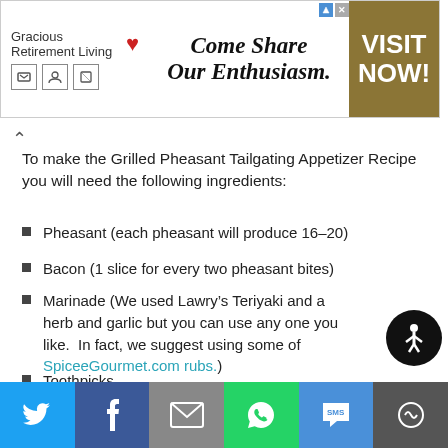[Figure (other): Advertisement banner for Gracious Retirement Living with tagline 'Come Share Our Enthusiasm.' and a gold 'VISIT NOW!' button on the right.]
To make the Grilled Pheasant Tailgating Appetizer Recipe you will need the following ingredients:
Pheasant (each pheasant will produce 16-20)
Bacon (1 slice for every two pheasant bites)
Marinade (We used Lawry’s Teriyaki and a herb and garlic but you can use any one you like. In fact, we suggest using some of SpiceeGourmet.com rubs.)
Toothpicks
Instructions
First, dress your bird and filet the breasts. Then cut the
[Figure (other): Bottom social sharing bar with Twitter, Facebook, Email, WhatsApp, SMS, and More buttons.]